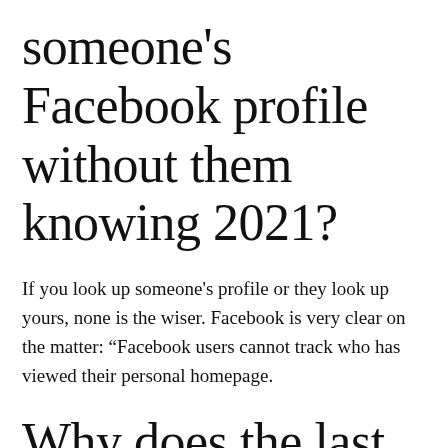someone's Facebook profile without them knowing 2021?
If you look up someone's profile or they look up yours, none is the wiser. Facebook is very clear on the matter: “Facebook users cannot track who has viewed their personal homepage.
Why does the last active disappear on Facebook?